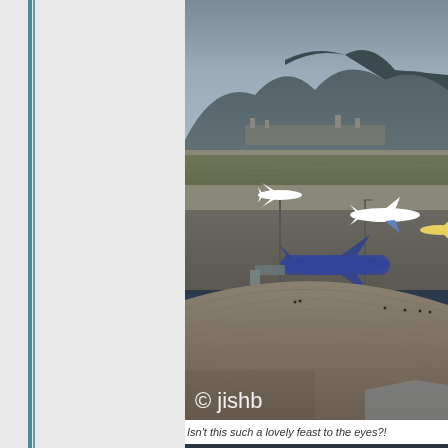[Figure (photo): Aerial view of a large international airport with multiple airplanes on tarmac, terminal roof in foreground, mountains and buildings visible in background. Watermark reading '© jishb' in bottom left corner.]
Isn't this such a lovely feast to the eyes?!
[Figure (photo): Partial view of a second photo at the bottom of the page, appears to show water or a coastal scene with dark tones.]